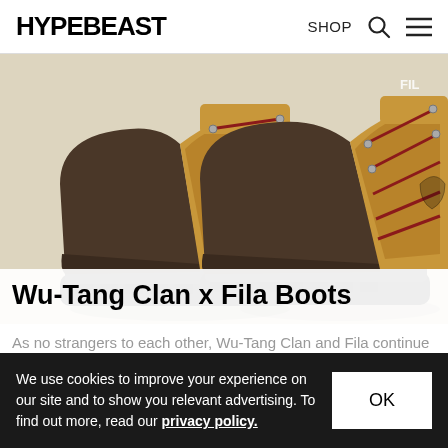HYPEBEAST   SHOP
[Figure (photo): Wu-Tang Clan x Fila Boots: two hiking boots in tan/wheat nubuck upper with dark brown rubber toe cap and sole, red laces, silver eyelets, and Wu-Tang Clan logo embossed on the side, Fila branding visible.]
Wu-Tang Clan x Fila Boots
As no strangers to each other, Wu-Tang Clan and Fila continue their collaborative efforts this
Uncategorized   Footwear   Sep 12, 2008   🔥 781   💬 0
We use cookies to improve your experience on our site and to show you relevant advertising. To find out more, read our privacy policy.